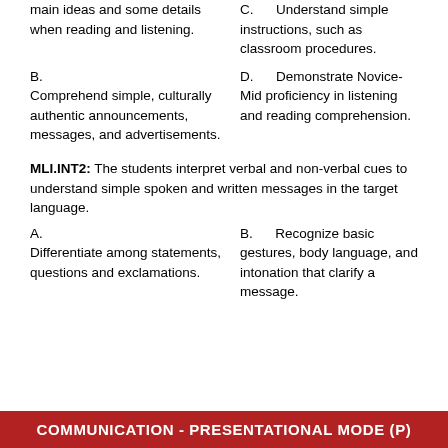main ideas and some details when reading and listening.
C.      Understand simple instructions, such as classroom procedures.
B. Comprehend simple, culturally authentic announcements, messages, and advertisements.
D.      Demonstrate Novice-Mid proficiency in listening and reading comprehension.
MLI.INT2: The students interpret verbal and non-verbal cues to understand simple spoken and written messages in the target language.
A. Differentiate among statements, questions and exclamations.
B.      Recognize basic gestures, body language, and intonation that clarify a message.
COMMUNICATION - PRESENTATIONAL MODE (P)